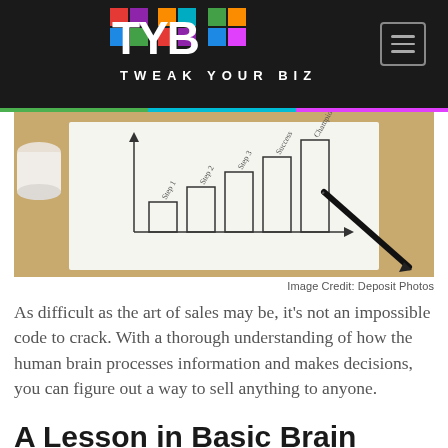TWEAK YOUR BIZ
[Figure (photo): A hand holding a pen drawing a bar chart on white paper on a wooden desk, with a coffee cup in the background]
Image Credit: Deposit Photos
As difficult as the art of sales may be, it's not an impossible code to crack. With a thorough understanding of how the human brain processes information and makes decisions, you can figure out a way to sell anything to anyone.
A Lesson in Basic Brain